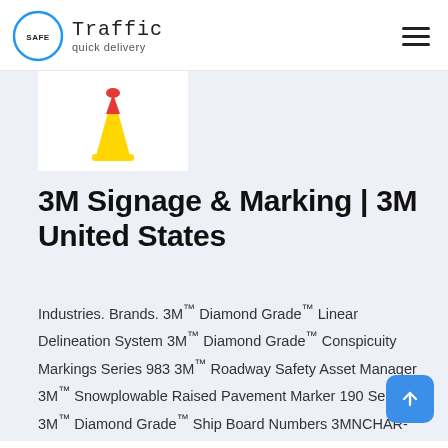Safe Traffic quick delivery
[Figure (photo): Product image of a yellow and red traffic delineator/cone on a white background]
3M Signage & Marking | 3M United States
Industries. Brands. 3M™ Diamond Grade™ Linear Delineation System 3M™ Diamond Grade™ Conspicuity Markings Series 983 3M™ Roadway Safety Asset Manager 3M™ Snowplowable Raised Pavement Marker 190 Series 3M™ Diamond Grade™ Ship Board Numbers 3MNCHAR-2RO, 39 Red, "O", 2 in, 10/Pkg 3M™ Diamond Grade™ Ship